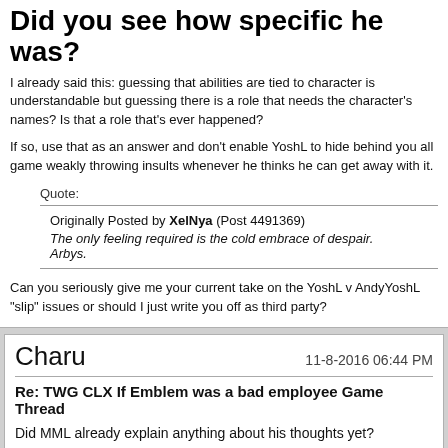Did you see how specific he was?
I already said this: guessing that abilities are tied to character is understandable but guessing there is a role that needs the character's names? Is that a role that's ever happened?
If so, use that as an answer and don't enable YoshL to hide behind you all game weakly throwing insults whenever he thinks he can get away with it.
Quote:
Originally Posted by XelNya (Post 4491369)
The only feeling required is the cold embrace of despair. Arbys.
Can you seriously give me your current take on the YoshL v AndyYoshL "slip" issues or should I just write you off as third party?
Charu
11-8-2016 06:44 PM
Re: TWG CLX If Emblem was a bad employee Game Thread
Did MML already explain anything about his thoughts yet?